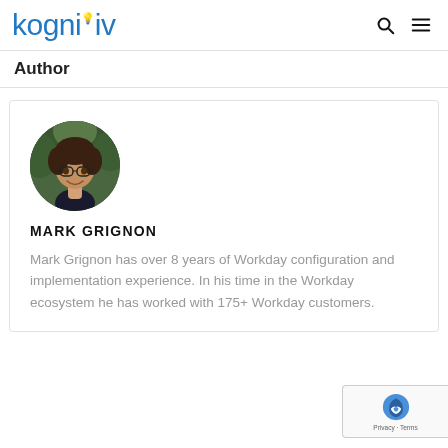kognitiv
Author
[Figure (photo): Circular portrait photo of Mark Grignon, a young man with glasses and short dark hair, smiling, set against a blurred green outdoor background.]
MARK GRIGNON
Mark Grignon has over 8 years of Workday configuration and implementation experience. In his time in the Workday ecosystem he has worked with 175+ Workday customers.
[Figure (logo): reCAPTCHA badge in bottom right corner with reCAPTCHA logo and 'Privacy - Terms' text.]